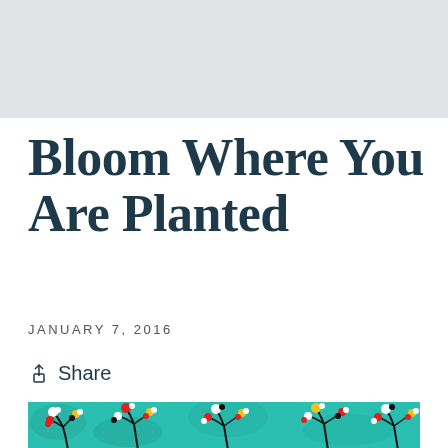[Figure (other): Light grey banner/header area at the top of the page]
Bloom Where You Are Planted
JANUARY 7, 2016
Share
[Figure (illustration): Colorful painting of stylized trees with red, yellow, and white circular flower clusters on teal/turquoise background with dark branch silhouettes]